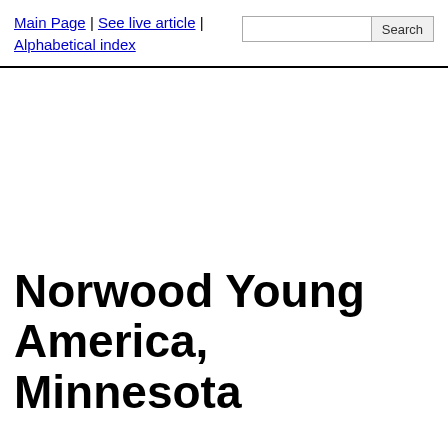Main Page | See live article | Alphabetical index
Norwood Young America, Minnesota